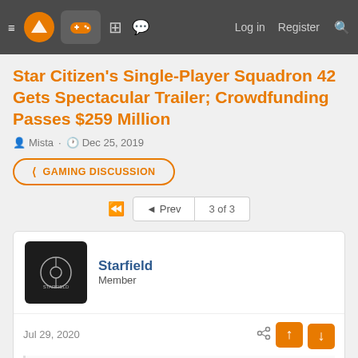Navigation bar with menu, logo, gamepad icon, building icon, chat icon, Log in, Register, Search
Star Citizen's Single-Player Squadron 42 Gets Spectacular Trailer; Crowdfunding Passes $259 Million
Mista · Dec 25, 2019
< GAMING DISCUSSION
◄◄  ◄ Prev  3 of 3
Starfield
Member
Jul 29, 2020
SirKicksalot said: ↑
Following community complaints that there's been no news since March, CIG is blessing us with the announcement of a roadmap of